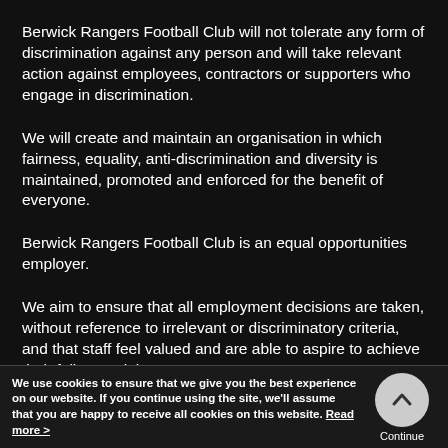Berwick Rangers Football Club will not tolerate any form of discrimination against any person and will take relevant action against employees, contractors or supporters who engage in discrimination.
We will create and maintain an organisation in which fairness, equality, anti-discrimination and diversity is maintained, promoted and enforced for the benefit of everyone.
Berwick Rangers Football Club is an equal opportunities employer.
We aim to ensure that all employment decisions are taken, without reference to irrelevant or discriminatory criteria, and that staff feel valued and are able to aspire to achieve their full potential.
We use cookies to ensure that we give you the best experience on our website. If you continue using the site, we'll assume that you are happy to receive all cookies on this website. Read more >